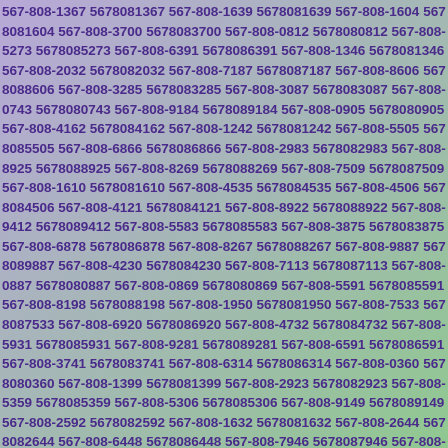567-808-1367 5678081367 567-808-1639 5678081639 567-808-1604 5678081604 567-808-3700 5678083700 567-808-0812 5678080812 567-808-5273 5678085273 567-808-6391 5678086391 567-808-1346 5678081346 567-808-2032 5678082032 567-808-7187 5678087187 567-808-8606 5678088606 567-808-3285 5678083285 567-808-3087 5678083087 567-808-0743 5678080743 567-808-9184 5678089184 567-808-0905 5678080905 567-808-4162 5678084162 567-808-1242 5678081242 567-808-5505 5678085505 567-808-6866 5678086866 567-808-2983 5678082983 567-808-8925 5678088925 567-808-8269 5678088269 567-808-7509 5678087509 567-808-1610 5678081610 567-808-4535 5678084535 567-808-4506 5678084506 567-808-4121 5678084121 567-808-8922 5678088922 567-808-9412 5678089412 567-808-5583 5678085583 567-808-3875 5678083875 567-808-6878 5678086878 567-808-8267 5678088267 567-808-9887 5678089887 567-808-4230 5678084230 567-808-7113 5678087113 567-808-0887 5678080887 567-808-0869 5678080869 567-808-5591 5678085591 567-808-8198 5678088198 567-808-1950 5678081950 567-808-7533 5678087533 567-808-6920 5678086920 567-808-4732 5678084732 567-808-5931 5678085931 567-808-9281 5678089281 567-808-6591 5678086591 567-808-3741 5678083741 567-808-6314 5678086314 567-808-0360 5678080360 567-808-1399 5678081399 567-808-2923 5678082923 567-808-5359 5678085359 567-808-5306 5678085306 567-808-9149 5678089149 567-808-2592 5678082592 567-808-1632 5678081632 567-808-2644 5678082644 567-808-6448 5678086448 567-808-7946 5678087946 567-808-2975 5678082975 567-808-2616 5678082616 567-808-1484 5678081484 567-808-7207 5678087207